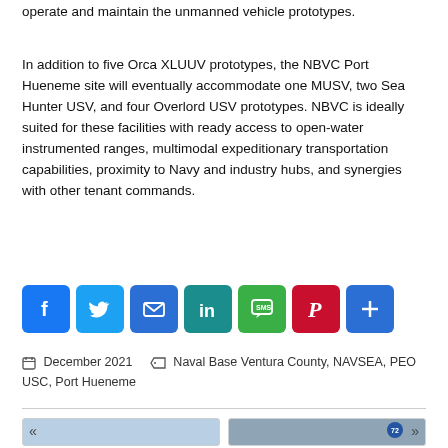operate and maintain the unmanned vehicle prototypes.
In addition to five Orca XLUUV prototypes, the NBVC Port Hueneme site will eventually accommodate one MUSV, two Sea Hunter USV, and four Overlord USV prototypes. NBVC is ideally suited for these facilities with ready access to open-water instrumented ranges, multimodal expeditionary transportation capabilities, proximity to Navy and industry hubs, and synergies with other tenant commands.
[Figure (other): Social media sharing buttons: Facebook (blue), Twitter (light blue), Email (blue), LinkedIn (teal), SMS (green), Pinterest (red), Share/AddThis (blue)]
December 2021    Naval Base Ventura County, NAVSEA, PEO USC, Port Hueneme
[Figure (photo): Two navigation cards with previous (chevron left) and next (chevron right) arrows, showing partial preview images of linked articles — left card has a light blue sky image, right card has a grey cloudy sky image with a logo badge in corner.]